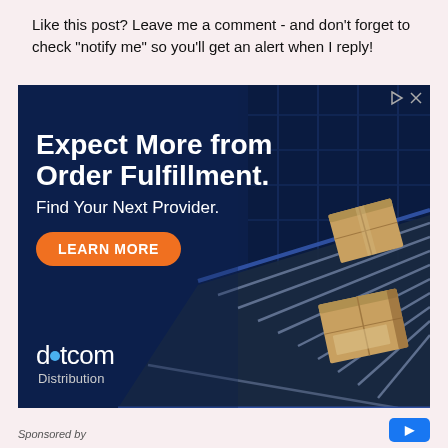Like this post? Leave me a comment - and don't forget to check "notify me" so you'll get an alert when I reply!
[Figure (infographic): Advertisement banner for dotcom Distribution with dark blue background showing a conveyor belt with cardboard boxes in a warehouse. Text reads: 'Expect More from Order Fulfillment. Find Your Next Provider.' with an orange 'LEARN MORE' button and dotcom Distribution logo at the bottom.]
Sponsored by